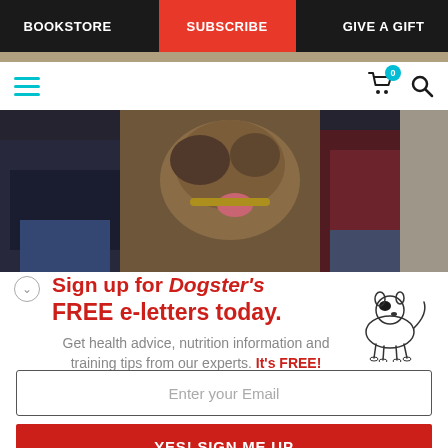BOOKSTORE | SUBSCRIBE | GIVE A GIFT
[Figure (photo): Partial view of a dog being petted by two people, with a German Shepherd visible in the center]
Sign up for Dogster's FREE e-letters today. Get health advice, nutrition information and training tips from our experts. It's FREE!
[Figure (illustration): Simple line drawing of a small white dog with a black spot over one eye, standing in profile]
Enter your Email
YES! SIGN ME UP